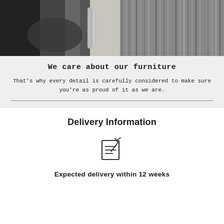[Figure (photo): Black and white photograph of a person's hands working on or examining furniture wood detail, with metallic hardware visible.]
We care about our furniture
That's why every detail is carefully considered to make sure you're as proud of it as we are.
Delivery Information
[Figure (illustration): Icon of a checklist/notepad with a checkmark]
Expected delivery within 12 weeks